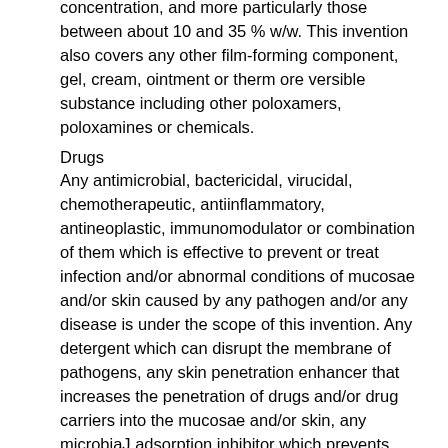concentration, and more particularly those between about 10 and 35 % w/w. This invention also covers any other film-forming component, gel, cream, ointment or therm ore versible substance including other poloxamers, poloxamines or chemicals.
Drugs
Any antimicrobial, bactericidal, virucidal, chemotherapeutic, antiinflammatory, antineoplastic, immunomodulator or combination of them which is effective to prevent or treat infection and/or abnormal conditions of mucosae and/or skin caused by any pathogen and/or any disease is under the scope of this invention. Any detergent which can disrupt the membrane of pathogens, any skin penetration enhancer that increases the penetration of drugs and/or drug carriers into the mucosae and/or skin, any microbiaJ adsorption inhibitor which prevents pathogen's entry into a target cell, any cytokine or antigen that could stimulate an immune response that would protect against pathogen's infection are also under the scope of this invention. This invention also covers any combination of topical formulations and/or drugs. Examples involving our gel formulations for prevention